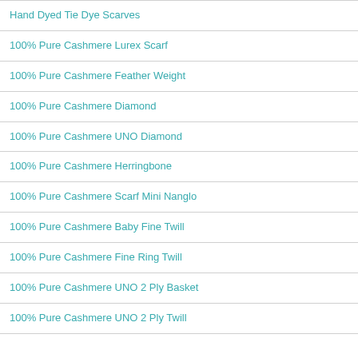Hand Dyed Tie Dye Scarves
100% Pure Cashmere Lurex Scarf
100% Pure Cashmere Feather Weight
100% Pure Cashmere Diamond
100% Pure Cashmere UNO Diamond
100% Pure Cashmere Herringbone
100% Pure Cashmere Scarf Mini Nanglo
100% Pure Cashmere Baby Fine Twill
100% Pure Cashmere Fine Ring Twill
100% Pure Cashmere UNO 2 Ply Basket
100% Pure Cashmere UNO 2 Ply Twill